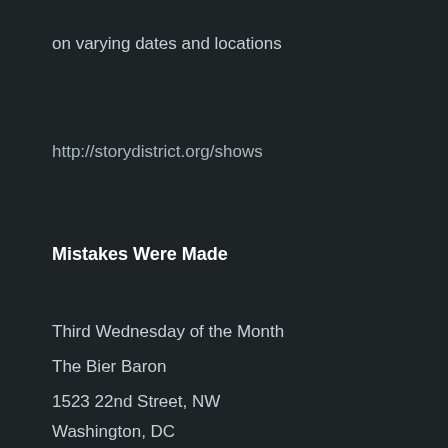on varying dates and locations
http://storydistrict.org/shows
Mistakes Were Made
Third Wednesday of the Month
The Bier Baron
1523 22nd Street, NW
Washington, DC